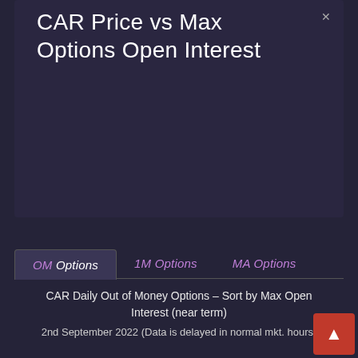CAR Price vs Max Options Open Interest
OM Options | 1M Options | MA Options
CAR Daily Out of Money Options - Sort by Max Open Interest (near term)
2nd September 2022 (Data is delayed in normal mkt. hours)